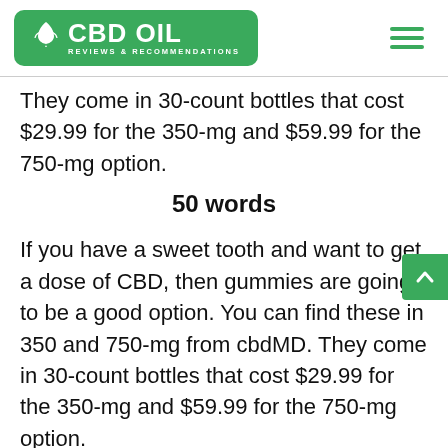CBD OIL REVIEWS & RECOMMENDATIONS
They come in 30-count bottles that cost $29.99 for the 350-mg and $59.99 for the 750-mg option.
50 words
If you have a sweet tooth and want to get a dose of CBD, then gummies are going to be a good option. You can find these in 350 and 750-mg from cbdMD. They come in 30-count bottles that cost $29.99 for the 350-mg and $59.99 for the 750-mg option.